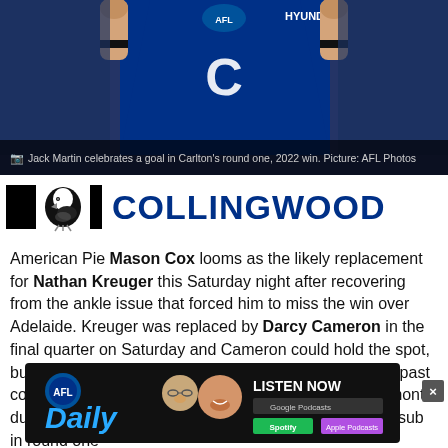[Figure (photo): Carlton AFL player (Jack Martin) celebrating a goal, wearing navy blue Carlton jersey with AFL and Hyundai logos visible]
Jack Martin celebrates a goal in Carlton's round one, 2022 win. Picture: AFL Photos
[Figure (logo): Collingwood FC logo banner with black blocks, magpie mascot and COLLINGWOOD text in dark blue]
American Pie Mason Cox looms as the likely replacement for Nathan Kreuger this Saturday night after recovering from the ankle issue that forced him to miss the win over Adelaide. Kreuger was replaced by Darcy Cameron in the final quarter on Saturday and Cameron could hold the spot, but Cox has edged ahead of the former Swan over the past couple of months. Beau McCreery is out for the next month due to a hip flexor injury. Tom Wilson was the unused sub in round one
[Figure (infographic): AFL Daily podcast advertisement banner with AFL Daily logo, podcast host faces, LISTEN NOW text and Google Podcasts, Spotify, Apple Podcasts badges]